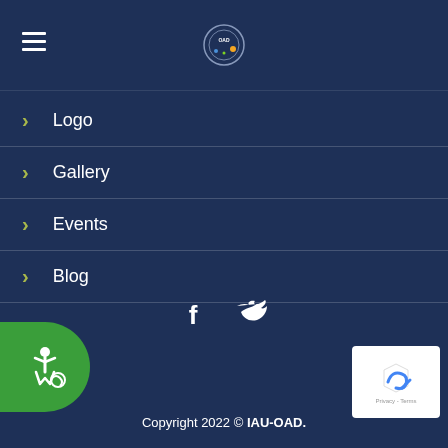IAU-OAD navigation header with logo
Logo
Gallery
Events
Blog
[Figure (illustration): Facebook and Twitter social media icons in white]
[Figure (illustration): Green accessibility button with wheelchair icon on left side]
[Figure (logo): reCAPTCHA badge with Privacy and Terms text]
Copyright 2022 © IAU-OAD.